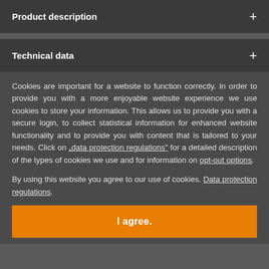Product description
Technical data
Cookies are important for a website to function correctly. In order to provide you with a more enjoyable website experience we use cookies to store your information. This allows us to provide you with a secure login, to collect statistical information for enhanced website functionality and to provide you with content that is tailored to your needs. Click on „data protection regulations“ for a detailed description of the types of cookies we use and for information on opt-out options.
By using this website you agree to our use of cookies. Data protection regulations.
I agree.